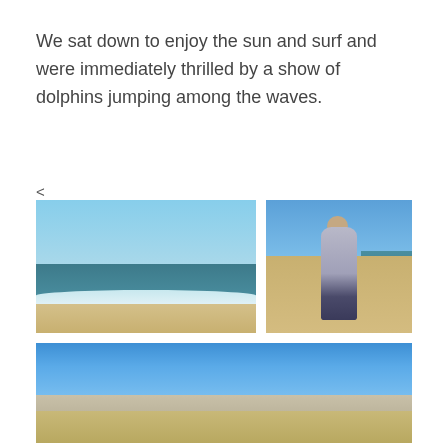We sat down to enjoy the sun and surf and were immediately thrilled by a show of dolphins jumping among the waves.
<
[Figure (photo): Ocean waves with blue sky, showing surf on sandy beach]
[Figure (photo): Man in blue-grey sweatshirt standing on sandy beach with ocean behind him]
[Figure (photo): Wide beach scene with houses/buildings in background, woman in hat in foreground, blue sky]